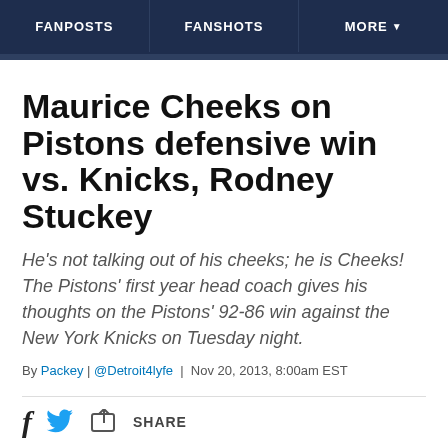FANPOSTS | FANSHOTS | MORE
Maurice Cheeks on Pistons defensive win vs. Knicks, Rodney Stuckey
He's not talking out of his cheeks; he is Cheeks! The Pistons' first year head coach gives his thoughts on the Pistons' 92-86 win against the New York Knicks on Tuesday night.
By Packey | @Detroit4lyfe | Nov 20, 2013, 8:00am EST
[Figure (other): Social share bar with Facebook, Twitter, and Share icons]